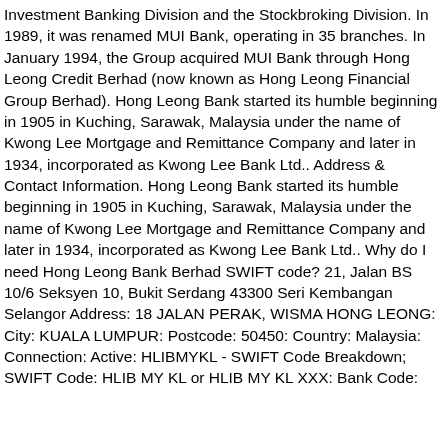Investment Banking Division and the Stockbroking Division. In 1989, it was renamed MUI Bank, operating in 35 branches. In January 1994, the Group acquired MUI Bank through Hong Leong Credit Berhad (now known as Hong Leong Financial Group Berhad). Hong Leong Bank started its humble beginning in 1905 in Kuching, Sarawak, Malaysia under the name of Kwong Lee Mortgage and Remittance Company and later in 1934, incorporated as Kwong Lee Bank Ltd.. Address & Contact Information. Hong Leong Bank started its humble beginning in 1905 in Kuching, Sarawak, Malaysia under the name of Kwong Lee Mortgage and Remittance Company and later in 1934, incorporated as Kwong Lee Bank Ltd.. Why do I need Hong Leong Bank Berhad SWIFT code? 21, Jalan BS 10/6 Seksyen 10, Bukit Serdang 43300 Seri Kembangan Selangor Address: 18 JALAN PERAK, WISMA HONG LEONG: City: KUALA LUMPUR: Postcode: 50450: Country: Malaysia: Connection: Active: HLIBMYKL - SWIFT Code Breakdown; SWIFT Code: HLIB MY KL or HLIB MY KL XXX: Bank Code: